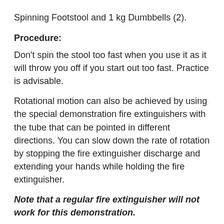Spinning Footstool and 1 kg Dumbbells (2).
Procedure:
Don't spin the stool too fast when you use it as it will throw you off if you start out too fast. Practice is advisable.
Rotational motion can also be achieved by using the special demonstration fire extinguishers with the tube that can be pointed in different directions. You can slow down the rate of rotation by stopping the fire extinguisher discharge and extending your hands while holding the fire extinguisher.
Note that a regular fire extinguisher will not work for this demonstration.
References: